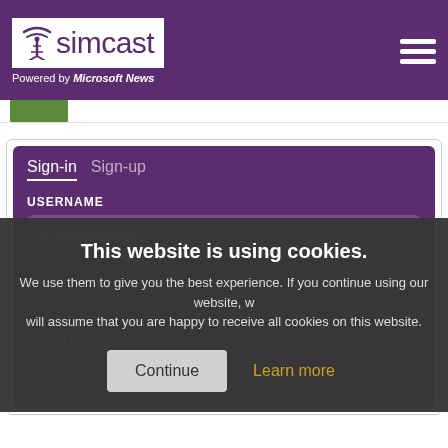simcast — Powered by Microsoft News
[Figure (screenshot): Small green image thumbnail below header]
Sign-in   Sign-up
USERNAME
Email Address
Forgot password
This website is using cookies. We use them to give you the best experience. If you continue using our website, we will assume that you are happy to receive all cookies on this website.
Continue
Learn more